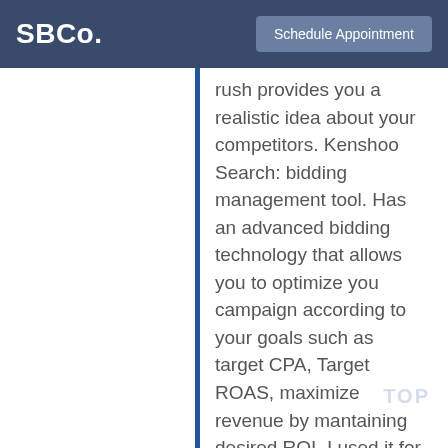SBCo.  Schedule Appointment
rush provides you a realistic idea about your competitors. Kenshoo Search: bidding management tool. Has an advanced bidding technology that allows you to optimize you campaign according to your goals such as target CPA, Target ROAS, maximize revenue by mantaining desired ROI. I used it for one of my client in the past and results